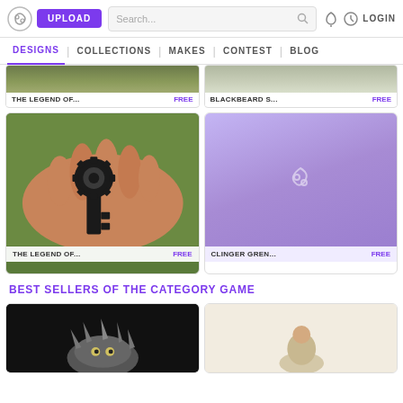UPLOAD | Search... | LOGIN
DESIGNS | COLLECTIONS | MAKES | CONTEST | BLOG
[Figure (photo): Card: THE LEGEND OF... FREE - outdoor photo partially cropped at top]
[Figure (photo): Card: BLACKBEARD S... FREE - outdoor photo partially cropped at top]
[Figure (photo): Card: THE LEGEND OF... FREE - hand holding a black gear-shaped key]
[Figure (photo): Card: CLINGER GREN... FREE - purple placeholder with logo icon]
BEST SELLERS OF THE CATEGORY GAME
[Figure (photo): Bottom card left: dark background with spiky creature figure, partially shown]
[Figure (photo): Bottom card right: cream/beige background with figure, partially shown]